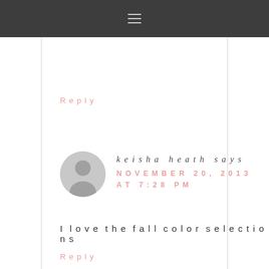Navigation menu icon (hamburger)
Reply
keisha heath says NOVEMBER 20, 2013 AT 7:28 PM
I love the fall color selections
Reply